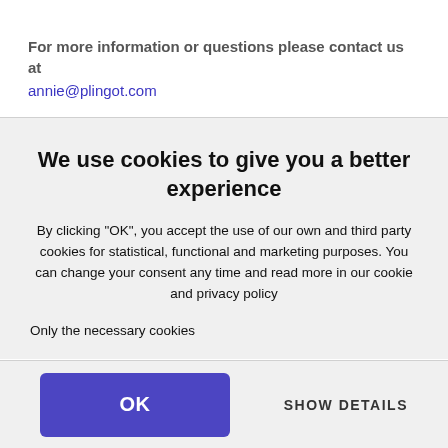For more information or questions please contact us at annie@plingot.com
We use cookies to give you a better experience
By clicking "OK", you accept the use of our own and third party cookies for statistical, functional and marketing purposes. You can change your consent any time and read more in our cookie and privacy policy
Only the necessary cookies
[Figure (screenshot): OK button (purple/blue rounded rectangle) and SHOW DETAILS text button at the bottom of the cookie consent modal]